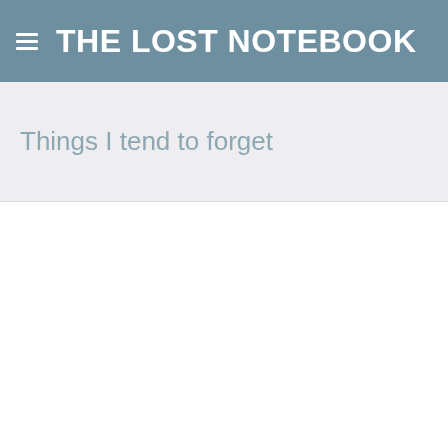THE LOST NOTEBOOK
Things I tend to forget